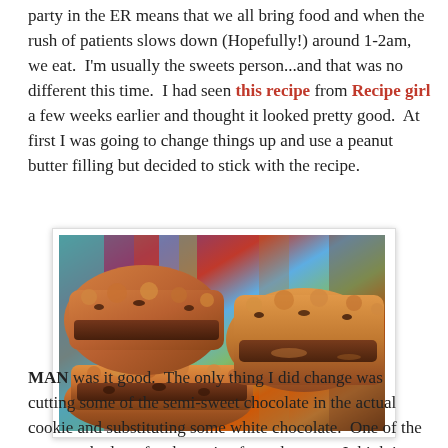party in the ER means that we all bring food and when the rush of patients slows down (Hopefully!) around 1-2am, we eat.  I'm usually the sweets person...and that was no different this time.  I had seen this recipe from Recipe girl a few weeks earlier and thought it looked pretty good.  At first I was going to change things up and use a peanut butter filling but decided to stick with the recipe.
[Figure (photo): Photo of oatmeal chocolate chip cookie bars stacked on a colorful striped surface]
MAN was it good.  The only thing I did change was cutting some of the semi-sweet chocolate in the actual cookie and substituting some white chocolate.  One of the nurses asked me for the recipe from the start.  I think it could be a few more that the sitting was in